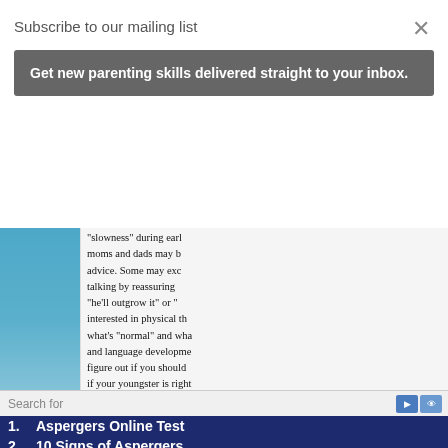Subscribe to our mailing list
Get new parenting skills delivered straight to your inbox.
"slowness" during early... moms and dads may b... advice. Some may exc... talking by reassuring ... "he'll outgrow it" or "... interested in physical th... what's "normal" and wha... and language developme... figure out if you should ... if your youngster is right...
It's important to discuss ... language development, ... physician at every routi...
Search for
1.  Aspergers Online Test
2.  10 Signs of Aspergers